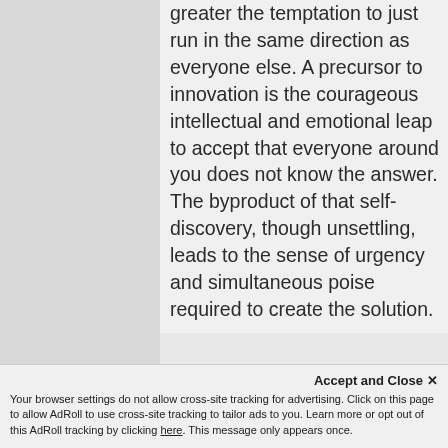greater the temptation to just run in the same direction as everyone else. A precursor to innovation is the courageous intellectual and emotional leap to accept that everyone around you does not know the answer. The byproduct of that self-discovery, though unsettling, leads to the sense of urgency and simultaneous poise required to create the solution.
3) Solving The Problem of Today With The Solution of Yesterday
We all know that the problems
Accept and Close ✕
Your browser settings do not allow cross-site tracking for advertising. Click on this page to allow AdRoll to use cross-site tracking to tailor ads to you. Learn more or opt out of this AdRoll tracking by clicking here. This message only appears once.